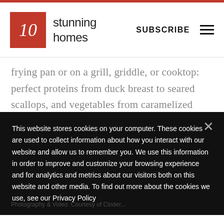stunning homes
frying pan or on a grill, griddle, or cooktop: perfect proteins from duck breast to seared scallops, and vegetables from caramelized apples to silky-soft onions. The Cinder is designed to be easy to clean. The two non-stick cooking plates are removable and dishwasher
This website stores cookies on your computer. These cookies are used to collect information about how you interact with our website and allow us to remember you. We use this information in order to improve and customize your browsing experience and for analytics and metrics about our visitors both on this website and other media. To find out more about the cookies we use, see our Privacy Policy
Photography & Video: Courtesy of Cinder...